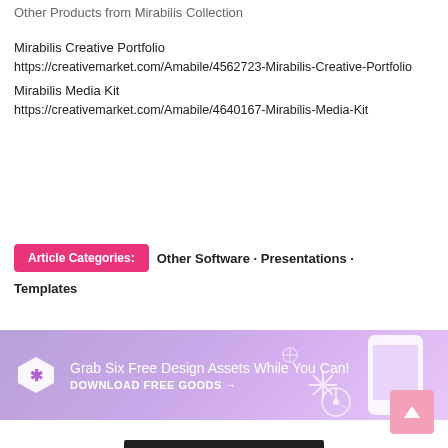Other Products from Mirabilis Collection
Mirabilis Creative Portfolio
https://creativemarket.com/Amabile/4562723-Mirabilis-Creative-Portfolio
Mirabilis Media Kit
https://creativemarket.com/Amabile/4640167-Mirabilis-Media-Kit
Article Categories:  Other Software · Presentations · Templates
[Figure (infographic): Purple/lavender banner ad: 'Grab Six Free Design Assets While You Can! DOWNLOAD FREE GOODS →' with Creative Market tag icon and illustrated phone/design elements on the right side.]
[Figure (other): Pink back-to-top button with upward arrow chevron, bottom right corner.]